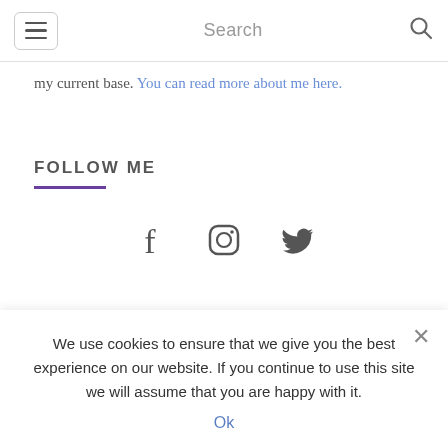Search
my current base. You can read more about me here.
FOLLOW ME
[Figure (other): Social media icons: Facebook (f), Instagram (circle camera), Twitter (bird)]
LATEST ON MY INSTAGRAM
We use cookies to ensure that we give you the best experience on our website. If you continue to use this site we will assume that you are happy with it. Ok